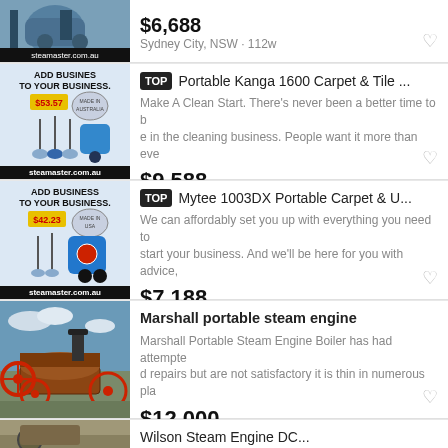[Figure (photo): Steammaster cleaning equipment product photo with steamaster.com.au label]
$6,688
Sydney City, NSW · 112w
[Figure (photo): Add Business To Your Business ad with $53.57 price, steamaster.com.au label, TOP badge listing]
TOP Portable Kanga 1600 Carpet & Tile ...
Make A Clean Start. There's never been a better time to be in the cleaning business. People want it more than eve
$9,588
Brisbane City, QLD · 118w
[Figure (photo): Add Business To Your Business ad with $42.23 price, steamaster.com.au label, Mytee listing]
TOP Mytee 1003DX Portable Carpet & U...
We can affordably set you up with everything you need to start your business. And we'll be here for you with advice,
$7,188
Melbourne CBD, VIC · 92w
[Figure (photo): Marshall portable steam engine - vintage red steam traction engine outdoors]
Marshall portable steam engine
Marshall Portable Steam Engine Boiler has had attempted repairs but are not satisfactory it is thin in numerous pla
$12,000
Drysdale, VIC · 1d
[Figure (photo): Wilson Steam Engine DC - partially visible listing at bottom of page]